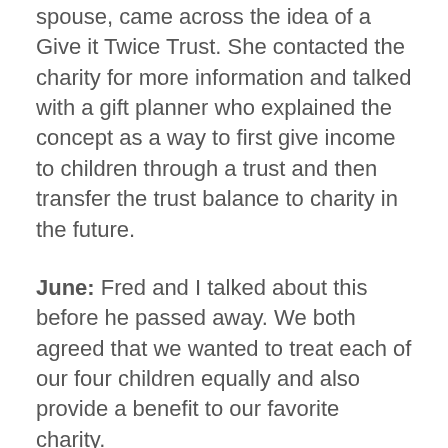spouse, came across the idea of a Give it Twice Trust. She contacted the charity for more information and talked with a gift planner who explained the concept as a way to first give income to children through a trust and then transfer the trust balance to charity in the future.
June: Fred and I talked about this before he passed away. We both agreed that we wanted to treat each of our four children equally and also provide a benefit to our favorite charity.
The gift planner told June that with her estate of $800,000 she would have the